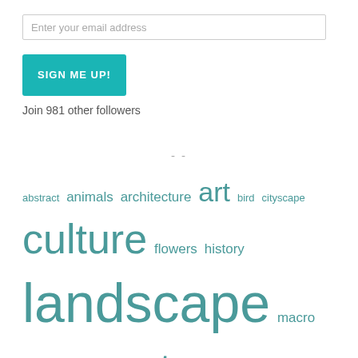Enter your email address
SIGN ME UP!
Join 981 other followers
--
abstract animals architecture art bird cityscape culture flowers history landscape macro mammal meeting nature people photo-of-the-day photography plants review seasons spring street technic technical